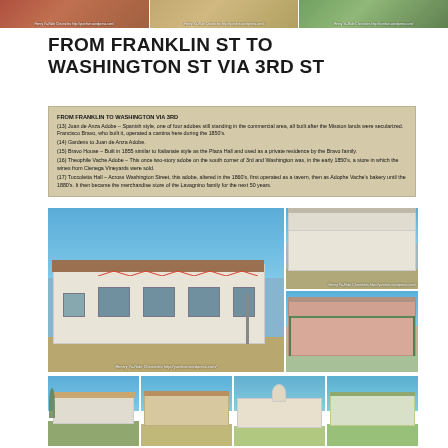[Figure (photo): Top strip of three historical building photos]
FROM FRANKLIN ST TO WASHINGTON ST VIA 3RD ST
FROM FRANKLIN TO WASHINGTON VIA 3RD
(13) Juan de Anza Adobe – Spanish style, one of four adobes still standing in the commercial area, all built after the Mission lands were secularized. Francisco Bravo, who built it, operated a cantina here during the 1850's.
(14) Gardens to Juan de Anza Adobe.
(15) Bravo House – Built in 1855 similar to Italianate style as the Plaza Hall and used as a private residence by the Bravo family.
(16) Theophile Vache Adobe – This once two-story adobe on the south corner of 3rd and Washington was, in the early 1850's, a store in which the wines from Cienega Vineyards were sold.
(17) Tuccoletta Hall – Across Washington Street, this adobe, altered in the 1860's, first operated as a tavern, then as Adophe Vache's bakery until the 1880's. It then became the merchandise store of the Lavagnino family for the next 50 years.
[Figure (photo): Large photo of Juan de Anza Adobe building with tile roof, decorated with colorful bunting, blue sky background. Photo credit: Henrry Ya-Ride Chronicles http://yumlive.wordpress.com/]
[Figure (photo): Upper right: Two-story white building on street corner]
[Figure (photo): Lower right: Two-story pink adobe building with balcony and green trim]
[Figure (photo): Bottom strip: four smaller photos of historic adobe buildings]